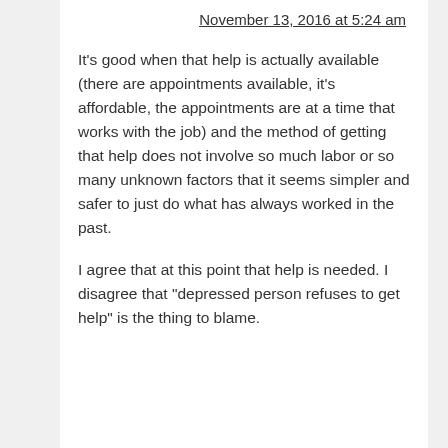November 13, 2016 at 5:24 am
It's good when that help is actually available (there are appointments available, it's affordable, the appointments are at a time that works with the job) and the method of getting that help does not involve so much labor or so many unknown factors that it seems simpler and safer to just do what has always worked in the past.
I agree that at this point that help is needed. I disagree that "depressed person refuses to get help" is the thing to blame.